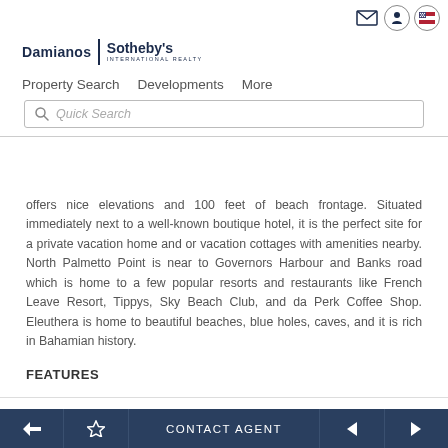Damianos | Sotheby's INTERNATIONAL REALTY — navigation with Property Search, Developments, More, Quick Search
offers nice elevations and 100 feet of beach frontage. Situated immediately next to a well-known boutique hotel, it is the perfect site for a private vacation home and or vacation cottages with amenities nearby. North Palmetto Point is near to Governors Harbour and Banks road which is home to a few popular resorts and restaurants like French Leave Resort, Tippys, Sky Beach Club, and da Perk Coffee Shop. Eleuthera is home to beautiful beaches, blue holes, caves, and it is rich in Bahamian history.
FEATURES
Back | Favorite | CONTACT AGENT | Previous | Next